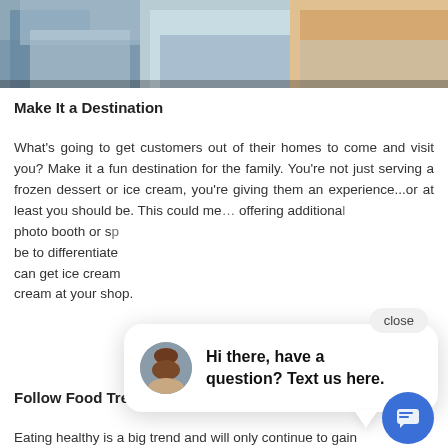[Figure (photo): Cropped photo showing three people standing together from waist down, wearing casual clothing — denim jacket, light blue hoodie, and yellow top.]
Make It a Destination
What's going to get customers out of their homes to come and visit you? Make it a fun destination for the family. You're not just serving a frozen dessert or ice cream, you're giving them an experience...or at least you should be. This could me… offering additional… photo booth or sp… be to differentiate… can get ice cream… cream at your shop.
[Figure (screenshot): Chat widget popup showing a woman's avatar and the text 'Hi there, have a question? Text us here.' with a close button and a blue chat FAB button below.]
Follow Food Trends
Eating healthy is a big trend and will only continue to gain